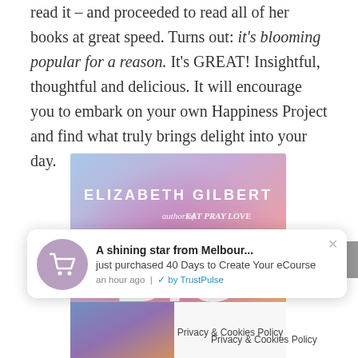read it – and proceeded to read all of her books at great speed. Turns out: it's blooming popular for a reason. It's GREAT! Insightful, thoughtful and delicious. It will encourage you to embark on your own Happiness Project and find what truly brings delight into your day.
[Figure (photo): Book cover of 'Big Magic' by Elizabeth Gilbert, author of Eat Pray Love. Colorful watercolor background in blues, pinks and oranges with large block letters 'BIG' visible.]
[Figure (screenshot): TrustPulse notification popup: 'A shining star from Melbour... just purchased 40 Days to Create Your eCourse' with a shopping cart icon and TrustPulse branding. An hour ago.]
Privacy & Cookies Policy